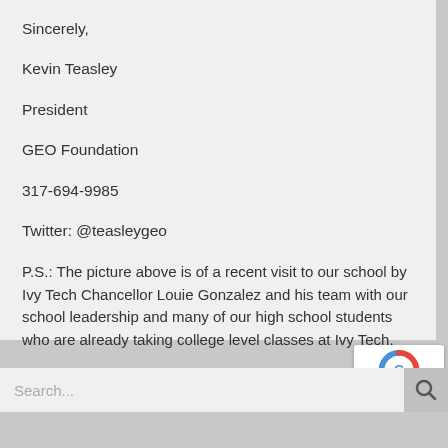Sincerely,
Kevin Teasley
President
GEO Foundation
317-694-9985
Twitter: @teasleygeo
P.S.: The picture above is of a recent visit to our school by Ivy Tech Chancellor Louie Gonzalez and his team with our school leadership and many of our high school students who are already taking college level classes at Ivy Tech.
Search...